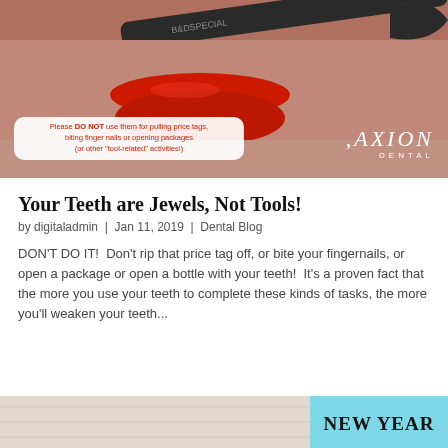[Figure (photo): Hero image showing a woman's lips with a wrench near her mouth, Axion Dental branding, with an overlay text box warning not to use teeth as tools]
Your Teeth are Jewels, Not Tools!
by digitaladmin | Jan 11, 2019 | Dental Blog
DON'T DO IT!  Don't rip that price tag off, or bite your fingernails, or open a package or open a bottle with your teeth!  It's a proven fact that the more you use your teeth to complete these kinds of tasks, the more you'll weaken your teeth...
[Figure (photo): Bottom partial image with light background on left and teal/cyan panel on right showing 'NEW YEAR' text]